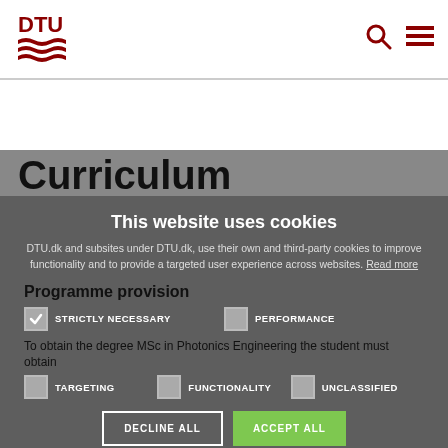DTU logo and navigation icons
Curriculum
This website uses cookies
DTU.dk and subsites under DTU.dk, use their own and third-party cookies to improve functionality and to provide a targeted user experience across websites. Read more
Programme provision
STRICTLY NECESSARY | PERFORMANCE | TARGETING | FUNCTIONALITY | UNCLASSIFIED
To obtain the degree MSc in Photonics Engineering the student must obtain
DECLINE ALL | ACCEPT ALL | SHOW DETAILS
at least 30 ECTS credits within general competence courses
at least 30 ECTS credits within tecnological